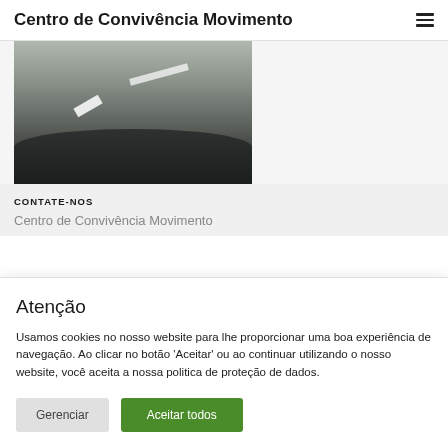Centro de Convivência Movimento
[Figure (photo): View from inside a car looking out at a road/highway, showing road markings and the car hood in the foreground.]
CONTATE-NOS
Centro de Convivência Movimento
Atenção
Usamos cookies no nosso website para lhe proporcionar uma boa experiência de navegação. Ao clicar no botão 'Aceitar' ou ao continuar utilizando o nosso website, você aceita a nossa politica de proteção de dados.
Gerenciar | Aceitar todos